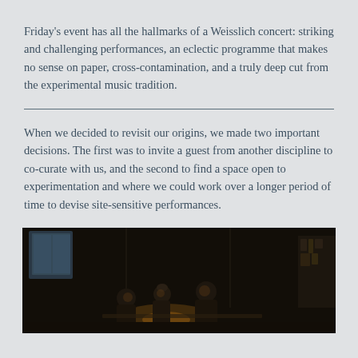Friday's event has all the hallmarks of a Weisslich concert: striking and challenging performances, an eclectic programme that makes no sense on paper, cross-contamination, and a truly deep cut from the experimental music tradition.
When we decided to revisit our origins, we made two important decisions. The first was to invite a guest from another discipline to co-curate with us, and the second to find a space open to experimentation and where we could work over a longer period of time to devise site-sensitive performances.
[Figure (photo): Dark concert or rehearsal photo showing people in a dimly lit room, candlelit ambiance, with figures gathered around]